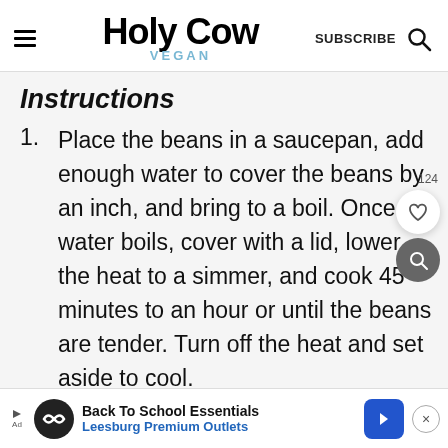Holy Cow Vegan — SUBSCRIBE
Instructions
Place the beans in a saucepan, add enough water to cover the beans by an inch, and bring to a boil. Once the water boils, cover with a lid, lower the heat to a simmer, and cook 45 minutes to an hour or until the beans are tender. Turn off the heat and set aside to cool.
Back To School Essentials Leesburg Premium Outlets